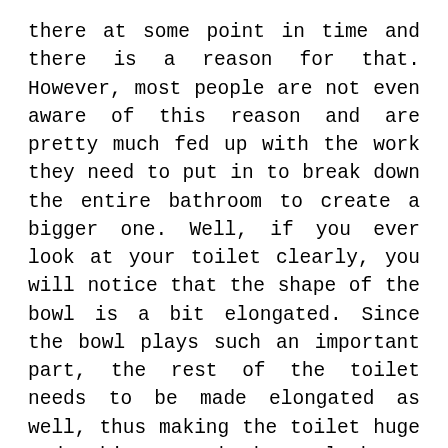there at some point in time and there is a reason for that. However, most people are not even aware of this reason and are pretty much fed up with the work they need to put in to break down the entire bathroom to create a bigger one. Well, if you ever look at your toilet clearly, you will notice that the shape of the bowl is a bit elongated. Since the bowl plays such an important part, the rest of the toilet needs to be made elongated as well, thus making the toilet huge and making your bathroom look way smaller than it already is.

So, is there a solution to all this? Lucky for you, the answer is yes! This is where a compact elongated toilet steps in. These narrow toilets are compact enough to fit in small bathrooms but have an elongated bowl that does not let discomfort step in. What this means is that you will still feel as if you are using a toilet just as big as your last one, even